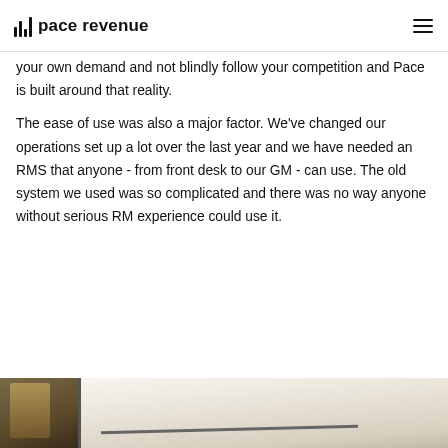pace revenue
your own demand and not blindly follow your competition and Pace is built around that reality.
The ease of use was also a major factor. We've changed our operations set up a lot over the last year and we have needed an RMS that anyone - from front desk to our GM - can use. The old system we used was so complicated and there was no way anyone without serious RM experience could use it.
[Figure (photo): Partial view of what appears to be a hotel or hospitality setting with decorative elements on the left and white furniture/surface on the right.]